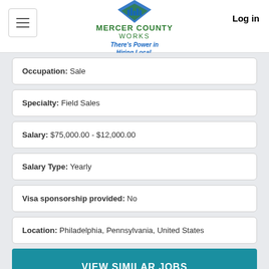Mercer County Works — There's Power in Hiring Local. | Log in
Occupation: Sale
Specialty: Field Sales
Salary: $75,000.00 - $12,000.00
Salary Type: Yearly
Visa sponsorship provided: No
Location: Philadelphia, Pennsylvania, United States
VIEW SIMILAR JOBS